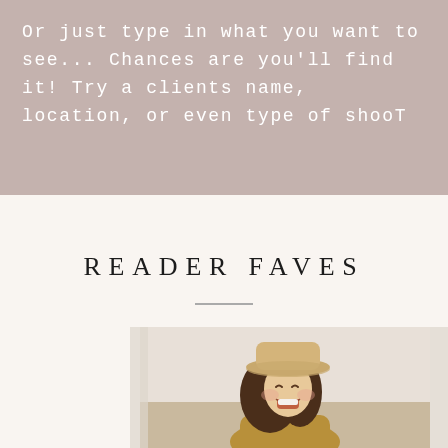Or just type in what you want to see... Chances are you'll find it! Try a clients name, location, or even type of shooT
READER FAVES
[Figure (photo): A laughing young girl with long brown hair wearing a wide-brim tan hat, photographed outdoors with a light blurred background.]